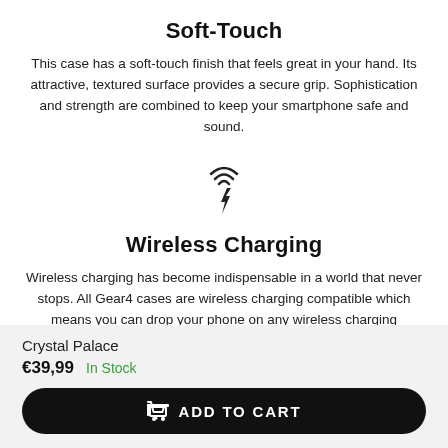Soft-Touch
This case has a soft-touch finish that feels great in your hand. Its attractive, textured surface provides a secure grip. Sophistication and strength are combined to keep your smartphone safe and sound.
[Figure (illustration): Wireless charging icon: wifi/signal arcs above a lightning bolt]
Wireless Charging
Wireless charging has become indispensable in a world that never stops. All Gear4 cases are wireless charging compatible which means you can drop your phone on any wireless charging
Crystal Palace
€39,99   In Stock
ADD TO CART